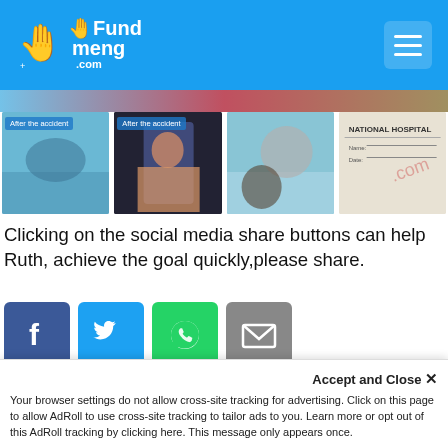FundMeng.com
[Figure (photo): Four thumbnail images: 'After the accident' hospital scene, woman in colorful outfit, person in medical setting, National Hospital document]
Clicking on the social media share buttons can help Ruth, achieve the goal quickly,please share.
[Figure (infographic): Social media share buttons: Facebook, Twitter, WhatsApp, Email]
Accidents that lead to extreme deformity, loss of ability to see or use the mouth, is not what anyone wishes for. Ruth Aboh, a 48 year old, mother of 3 who has been single...
Accept and Close ✕
Your browser settings do not allow cross-site tracking for advertising. Click on this page to allow AdRoll to use cross-site tracking to tailor ads to you. Learn more or opt out of this AdRoll tracking by clicking here. This message only appears once.